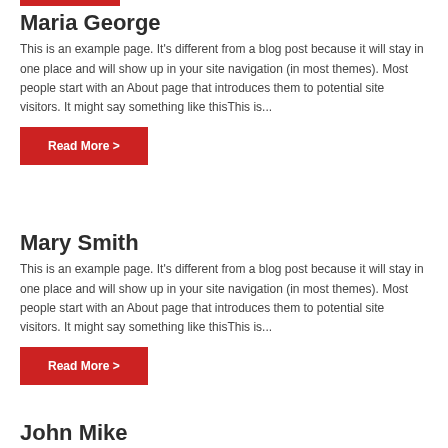[Figure (other): Red horizontal bar at top]
Maria George
This is an example page. It’s different from a blog post because it will stay in one place and will show up in your site navigation (in most themes). Most people start with an About page that introduces them to potential site visitors. It might say something like thisThis is...
Read More >
Mary Smith
This is an example page. It’s different from a blog post because it will stay in one place and will show up in your site navigation (in most themes). Most people start with an About page that introduces them to potential site visitors. It might say something like thisThis is...
Read More >
John Mike